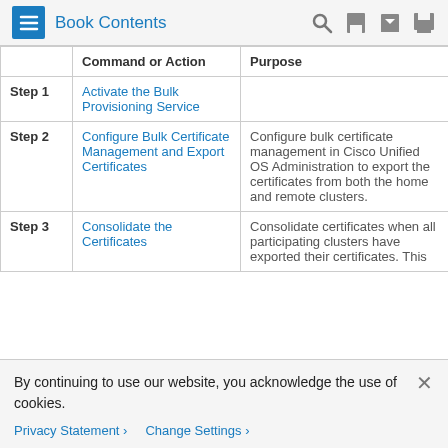Book Contents
|  | Command or Action | Purpose |
| --- | --- | --- |
| Step 1 | Activate the Bulk Provisioning Service |  |
| Step 2 | Configure Bulk Certificate Management and Export Certificates | Configure bulk certificate management in Cisco Unified OS Administration to export the certificates from both the home and remote clusters. |
| Step 3 | Consolidate the Certificates | Consolidate certificates when all participating clusters have exported their certificates. This... |
By continuing to use our website, you acknowledge the use of cookies.
Privacy Statement > Change Settings >